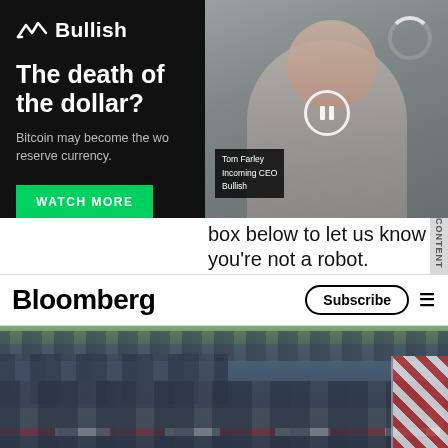[Figure (screenshot): Bullish advertisement with dark background, logo, headline 'The death of the dollar?', subtext 'Bitcoin may become the world reserve currency.', green 'WATCH MORE' button, and a video thumbnail of a man (Tom Farley, Incoming CEO, Bullish) on the right side with pause and loading indicators.]
box below to let us know you're not a robot.
CONTENT
[Figure (screenshot): Bloomberg website navigation bar with Bloomberg logo in bold, Subscribe button, and hamburger menu icon.]
[Figure (photo): News photo showing rows of riot police officers in blue uniforms and helmets wearing face masks, lined up along a road with red and white barriers on the right side.]